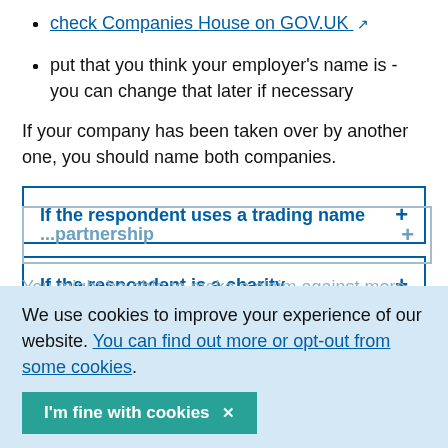check Companies House on GOV.UK
put that you think your employer's name is - you can change that later if necessary
If your company has been taken over by another one, you should name both companies.
If the respondent uses a trading name
If the respondent is a charity
We use cookies to improve your experience of our website. You can find out more or opt-out from some cookies.
I'm fine with cookies